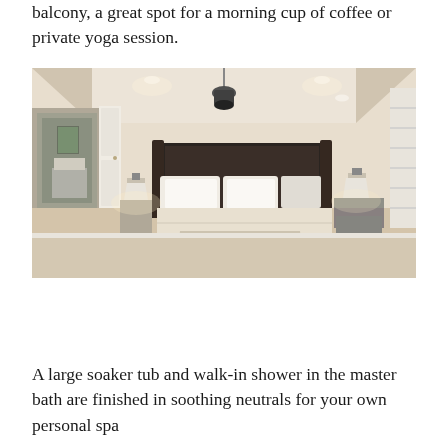balcony, a great spot for a morning cup of coffee or private yoga session.
[Figure (photo): Interior photo of a master bedroom with a dark wood four-poster bed, white bedding, upholstered bench at the foot of the bed, pendant ceiling light fixture in a tray ceiling with recessed lights, a doorway to the left opening into a bathroom/dressing area, and a window with shutters on the right. Neutral carpet and light beige walls.]
A large soaker tub and walk-in shower in the master bath are finished in soothing neutrals for your own personal spa